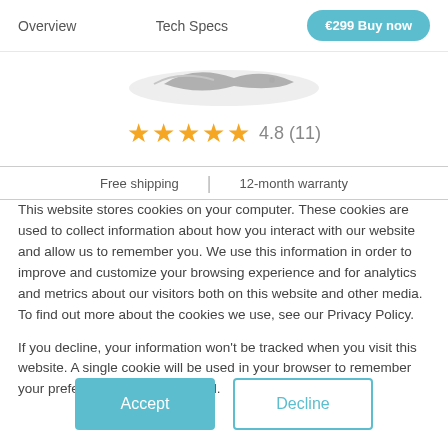Overview  Tech Specs  €299 Buy now
[Figure (photo): Partial product image — a curved device or accessory in silver/grey against white background]
★★★★★ 4.8 (11)
Free shipping | 12-month warranty
This website stores cookies on your computer. These cookies are used to collect information about how you interact with our website and allow us to remember you. We use this information in order to improve and customize your browsing experience and for analytics and metrics about our visitors both on this website and other media. To find out more about the cookies we use, see our Privacy Policy.
If you decline, your information won't be tracked when you visit this website. A single cookie will be used in your browser to remember your preference not to be tracked.
Accept
Decline